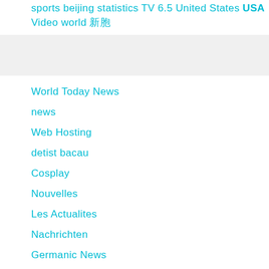sports beijing statistics TV 6.5 United States USA
Video world 新闻
World Today News
news
Web Hosting
detist bacau
Cosplay
Nouvelles
Les Actualites
Nachrichten
Germanic News